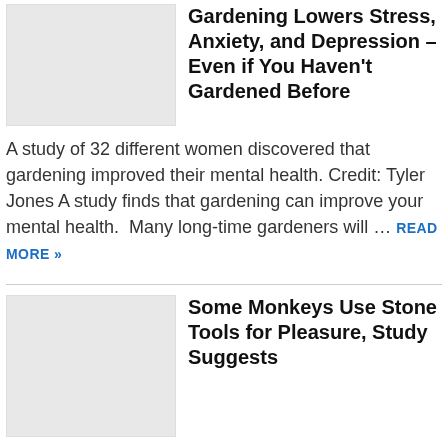[Figure (photo): Placeholder image thumbnail for gardening article, light gray rectangle]
Gardening Lowers Stress, Anxiety, and Depression – Even if You Haven't Gardened Before
A study of 32 different women discovered that gardening improved their mental health. Credit: Tyler Jones A study finds that gardening can improve your mental health.  Many long-time gardeners will … READ MORE »
[Figure (photo): Placeholder image thumbnail for monkeys article, light gray rectangle]
Some Monkeys Use Stone Tools for Pleasure, Study Suggests
(Representative Image) Many monkeys are skilled stone handlers, using rocks to dig up roots, cut